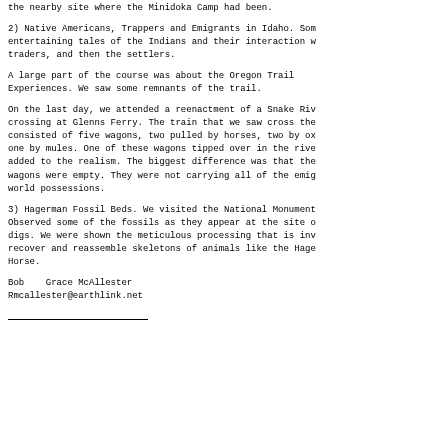the nearby site where the Minidoka Camp had been.
2) Native Americans, Trappers and Emigrants in Idaho. Some entertaining tales of the Indians and their interaction with traders, and then the settlers.
A large part of the course was about the Oregon Trail Experiences. We saw some remnants of the trail.
On the last day, we attended a reenactment of a Snake River crossing at Glenns Ferry. The train that we saw cross the river consisted of five wagons, two pulled by horses, two by oxen and one by mules. One of these wagons tipped over in the river and added to the realism. The biggest difference was that the wagons were empty. They were not carrying all of the emigrants world possessions.
3) Hagerman Fossil Beds. We visited the National Monument. Observed some of the fossils as they appear at the site of the digs. We were shown the meticulous processing that is involved to recover and reassemble skeletons of animals like the Hagerman Horse.
Bob   Grace McAllester
Rmcallester@earthlink.net